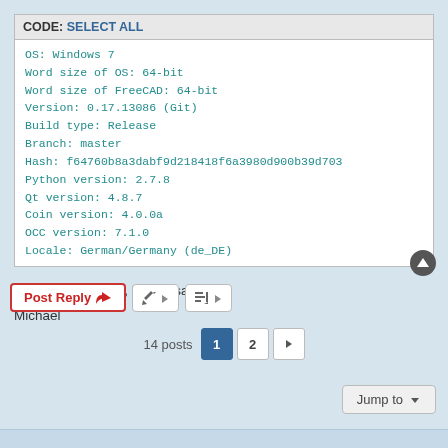CODE: SELECT ALL
OS: Windows 7
Word size of OS: 64-bit
Word size of FreeCAD: 64-bit
Version: 0.17.13086 (Git)
Build type: Release
Branch: master
Hash: f64760b8a3dabf9d218418f6a3980d900b39d703
Python version: 2.7.8
Qt version: 4.8.7
Coin version: 4.0.0a
OCC version: 7.1.0
Locale: German/Germany (de_DE)
... but as expected, it's the same.
Michael